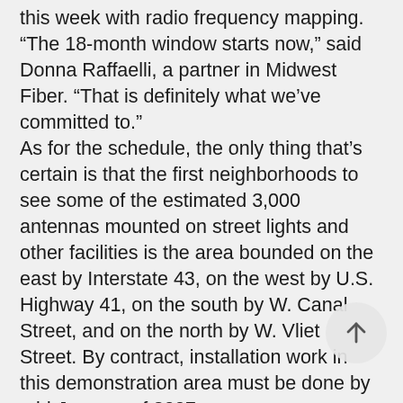this week with radio frequency mapping. “The 18-month window starts now,” said Donna Raffaelli, a partner in Midwest Fiber. “That is definitely what we’ve committed to.” As for the schedule, the only thing that’s certain is that the first neighborhoods to see some of the estimated 3,000 antennas mounted on street lights and other facilities is the area bounded on the east by Interstate 43, on the west by U.S. Highway 41, on the south by W. Canal Street, and on the north by W. Vliet Street. By contract, installation work in this demonstration area must be done by mid-January of 2007. Beyond this section of the city, the pattern of roll out will not be determined by preference, but by technical considerations, Raffaelli said. At this point, she isn’t sure which neighborhoods